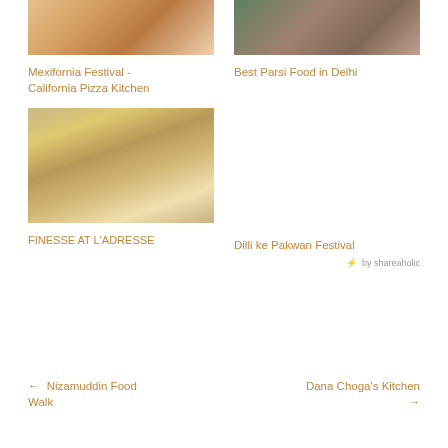[Figure (photo): Food/drink photo - smoothie or beverage with plates, top-left]
Mexifornia Festival - California Pizza Kitchen
[Figure (photo): Group of people photo - Parsi food event, top-right]
Best Parsi Food in Delhi
[Figure (photo): Fried food on a plate with dipping sauce, mid-left]
FINESSE AT L'ADRESSE
Dilli ke Pakwan Festival
⚡ by shareaholic
← Nizamuddin Food Walk
Dana Choga's Kitchen →